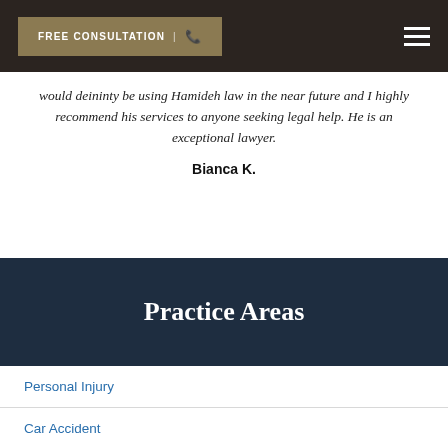FREE CONSULTATION
would deininty be using Hamideh law in the near future and I highly recommend his services to anyone seeking legal help. He is an exceptional lawyer.
Bianca K.
Practice Areas
Personal Injury
Car Accident
Workers Compensation
Catastrophic Injury